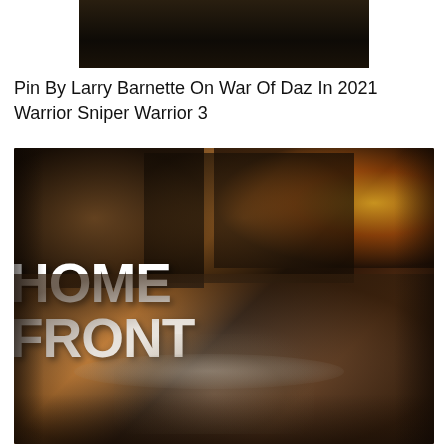[Figure (photo): Dark image at top, partially cropped — appears to be a dark background scene]
Pin By Larry Barnette On War Of Daz In 2021 Warrior Sniper Warrior 3
[Figure (photo): Movie poster for 'Homefront' showing action scenes with a man shooting a rifle at top and a man wearing a cap in the foreground, with large bold white text reading HOMEFRONT]